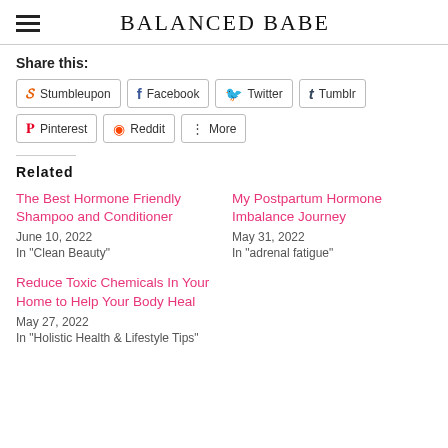BALANCED BABE
Share this:
Stumbleupon
Facebook
Twitter
Tumblr
Pinterest
Reddit
More
Related
The Best Hormone Friendly Shampoo and Conditioner
June 10, 2022
In "Clean Beauty"
My Postpartum Hormone Imbalance Journey
May 31, 2022
In "adrenal fatigue"
Reduce Toxic Chemicals In Your Home to Help Your Body Heal
May 27, 2022
In "Holistic Health & Lifestyle Tips"